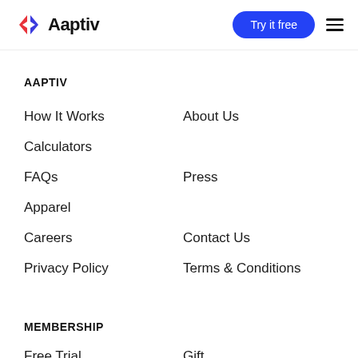Aaptiv — Try it free (navigation header)
AAPTIV
How It Works
About Us
Calculators
FAQs
Press
Apparel
Careers
Contact Us
Privacy Policy
Terms & Conditions
MEMBERSHIP
Free Trial
Gift